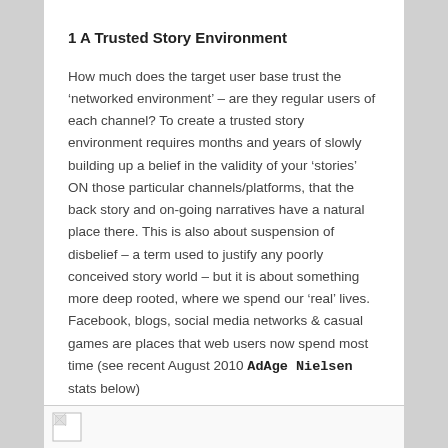1 A Trusted Story Environment
How much does the target user base trust the ‘networked environment’ – are they regular users of each channel? To create a trusted story environment requires months and years of slowly building up a belief in the validity of your ‘stories’ ON those particular channels/platforms, that the back story and on-going narratives have a natural place there. This is also about suspension of disbelief – a term used to justify any poorly conceived story world – but it is about something more deep rooted, where we spend our ‘real’ lives. Facebook, blogs, social media networks & casual games are places that web users now spend most time (see recent August 2010 AdAge Nielsen stats below)
[Figure (other): Partial image placeholder visible at bottom of page, showing a broken image icon]